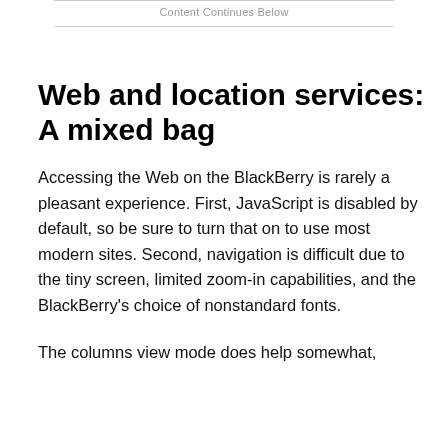Content Continues Below
Web and location services: A mixed bag
Accessing the Web on the BlackBerry is rarely a pleasant experience. First, JavaScript is disabled by default, so be sure to turn that on to use most modern sites. Second, navigation is difficult due to the tiny screen, limited zoom-in capabilities, and the BlackBerry’s choice of nonstandard fonts.
The columns view mode does help somewhat,